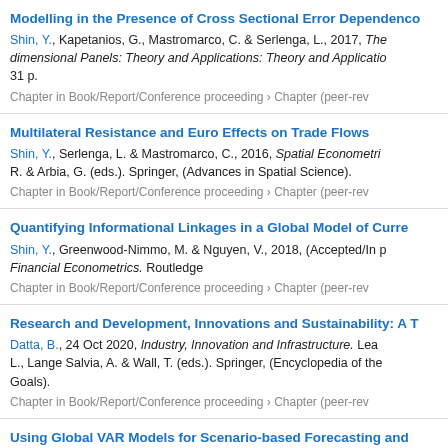Modelling in the Presence of Cross Sectional Error Dependence... Shin, Y., Kapetanios, G., Mastromarco, C. & Serlenga, L., 2017, The...-dimensional Panels: Theory and Applications: Theory and Applications..., 31 p. Chapter in Book/Report/Conference proceeding › Chapter (peer-rev...
Multilateral Resistance and Euro Effects on Trade Flows. Shin, Y., Serlenga, L. & Mastromarco, C., 2016, Spatial Econometri... R. & Arbia, G. (eds.). Springer, (Advances in Spatial Science). Chapter in Book/Report/Conference proceeding › Chapter (peer-rev...
Quantifying Informational Linkages in a Global Model of Curren... Shin, Y., Greenwood-Nimmo, M. & Nguyen, V., 2018, (Accepted/In p... Financial Econometrics. Routledge. Chapter in Book/Report/Conference proceeding › Chapter (peer-rev...
Research and Development, Innovations and Sustainability: A T... Datta, B., 24 Oct 2020, Industry, Innovation and Infrastructure. Lea... L., Lange Salvia, A. & Wall, T. (eds.). Springer, (Encyclopedia of the... Goals). Chapter in Book/Report/Conference proceeding › Chapter (peer-rev...
Using Global VAR Models for Scenario-based Forecasting and... Shin, Y., Greenwood-Nimmo, M. & Nguyen, V., 2013, The GVAR Ha... Applications of a Macro Model of the Global Economy for Policy Ana... F. (eds.). Oxford: Oxford University Press, p. 97-113. Chapter in Book/Report/Conference proceeding › Chapter (peer-rev...